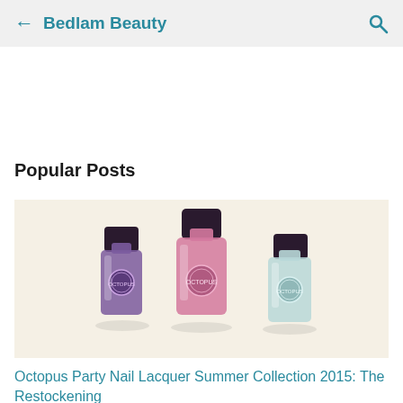← Bedlam Beauty 🔍
Popular Posts
[Figure (photo): Three Octopus Party Nail Lacquer bottles arranged in a fan pattern on a light cream background. Left bottle is purple, center bottle is pink, right bottle is mint/silver. All have dark caps and circular brand logos on the front.]
Octopus Party Nail Lacquer Summer Collection 2015: The Restockening